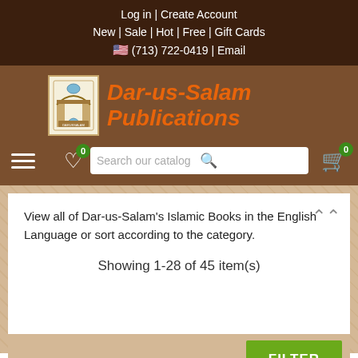Log in | Create Account
New | Sale | Hot | Free | Gift Cards
🇺🇸 (713) 722-0419 | Email
[Figure (logo): Dar-us-Salam Publications logo with building icon and Arabic text]
Dar-us-Salam Publications
View all of Dar-us-Salam's Islamic Books in the English Language or sort according to the category.
Showing 1-28 of 45 item(s)